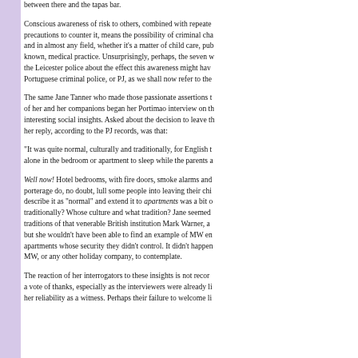between there and the tapas bar.
Conscious awareness of risk to others, combined with repeated failures to take precautions to counter it, means the possibility of criminal charges arises in all walks and in almost any field, whether it's a matter of child care, public safety or, as is well known, medical practice. Unsurprisingly, perhaps, the seven were cautious about telling the Leicester police about the effect this awareness might have on their behaviour to the Portuguese criminal police, or PJ, as we shall now refer to the...
The same Jane Tanner who made those passionate assertions to the Leicester police of her and her companions began her Portimao interview on this subject with some interesting social insights. Asked about the decision to leave the children unattended, her reply, according to the PJ records, was that:
"It was quite normal, culturally and traditionally, for English to leave children alone in the bedroom or apartment to sleep while the parents a...
Well now! Hotel bedrooms, with fire doors, smoke alarms and permanent porterage do, no doubt, lull some people into leaving their children. But to describe it as "normal" and extend it to apartments was a bit of a stretch, culturally, traditionally? Whose culture and what tradition? Jane seemed to be referring to the traditions of that venerable British institution Mark Warner, a holiday company, but she wouldn't have been able to find an example of MW encouraging clients to leave apartments whose security they didn't control. It didn't happen and it wasn't for MW, or any other holiday company, to contemplate.
The reaction of her interrogators to these insights is not recorded. They may have given a vote of thanks, especially as the interviewers were already likely to be questioning her reliability as a witness. Perhaps their failure to welcome...